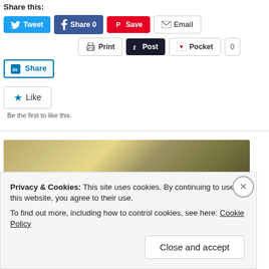Share this:
[Figure (screenshot): Social sharing buttons row 1: Tweet (Twitter/blue), Share 0 (Facebook/blue), Save (Pinterest/red), Email (grey outline)]
[Figure (screenshot): Social sharing buttons row 2: Print (grey outline), Post (Tumblr/dark), Pocket (grey outline with count 0)]
[Figure (screenshot): LinkedIn Share button (blue outline)]
[Figure (screenshot): Like button (star icon) and 'Be the first to like this.' text]
[Figure (photo): Partial photo strip showing a golden-brown textured surface]
Privacy & Cookies: This site uses cookies. By continuing to use this website, you agree to their use. To find out more, including how to control cookies, see here: Cookie Policy
Close and accept